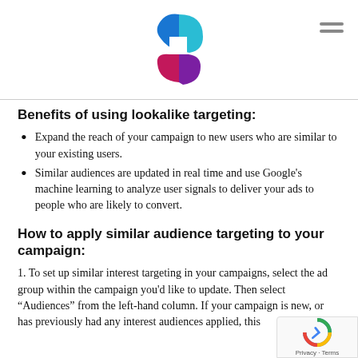[Figure (logo): Colorful S-shaped logo with teal, blue, and magenta segments]
Benefits of using lookalike targeting:
Expand the reach of your campaign to new users who are similar to your existing users.
Similar audiences are updated in real time and use Google's machine learning to analyze user signals to deliver your ads to people who are likely to convert.
How to apply similar audience targeting to your campaign:
1. To set up similar interest targeting in your campaigns, select the ad group within the campaign you'd like to update. Then select “Audiences” from the left-hand column. If your campaign is new, or has previously had any interest audiences applied, this